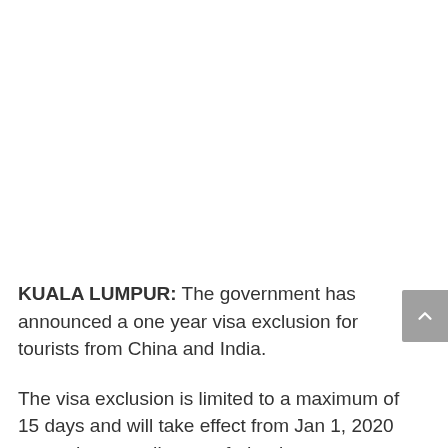KUALA LUMPUR: The government has announced a one year visa exclusion for tourists from China and India.
The visa exclusion is limited to a maximum of 15 days and will take effect from Jan 1, 2020 onwards, according to a federal